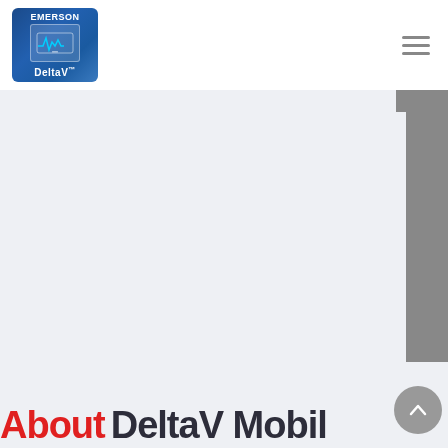[Figure (logo): Emerson DeltaV mobile app logo - blue square with tablet icon and waveform]
[Figure (other): Hamburger menu icon with three horizontal lines]
[Figure (screenshot): Main content area - light gray/blue background with gray sidebar panel on right side]
[Figure (other): Back to top circular button with upward chevron arrow]
About DeltaV Mobile